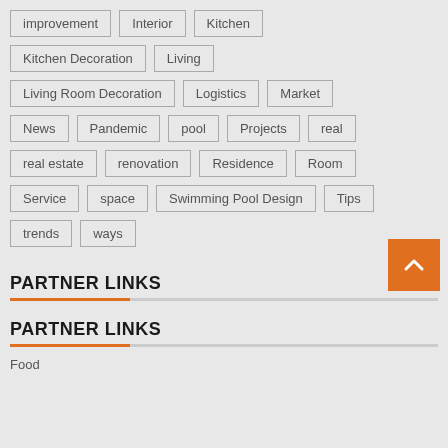improvement
Interior
Kitchen
Kitchen Decoration
Living
Living Room Decoration
Logistics
Market
News
Pandemic
pool
Projects
real
real estate
renovation
Residence
Room
Service
space
Swimming Pool Design
Tips
trends
ways
PARTNER LINKS
PARTNER LINKS
Food